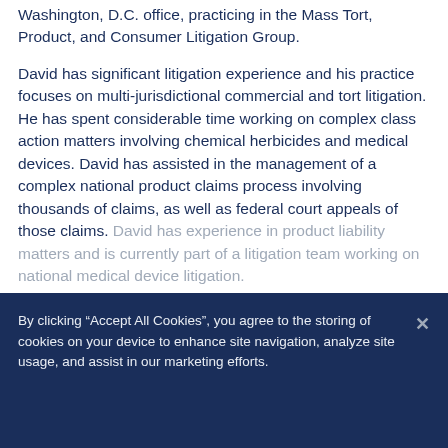Washington, D.C. office, practicing in the Mass Tort, Product, and Consumer Litigation Group.
David has significant litigation experience and his practice focuses on multi-jurisdictional commercial and tort litigation. He has spent considerable time working on complex class action matters involving chemical herbicides and medical devices. David has assisted in the management of a complex national product claims process involving thousands of claims, as well as federal court appeals of those claims. David has experience in product liability matters and is currently part of a litigation team working on national medical device litigation.
View More
By clicking “Accept All Cookies”, you agree to the storing of cookies on your device to enhance site navigation, analyze site usage, and assist in our marketing efforts.